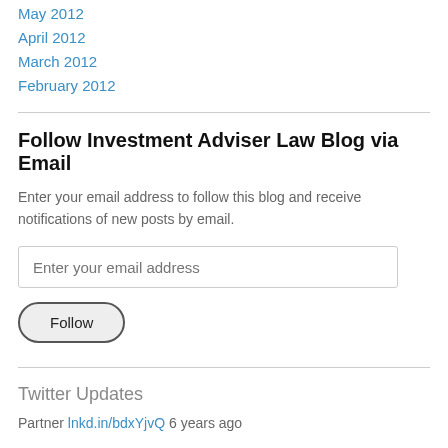May 2012
April 2012
March 2012
February 2012
Follow Investment Adviser Law Blog via Email
Enter your email address to follow this blog and receive notifications of new posts by email.
Enter your email address
Follow
Twitter Updates
Partner lnkd.in/bdxYjvQ 6 years ago